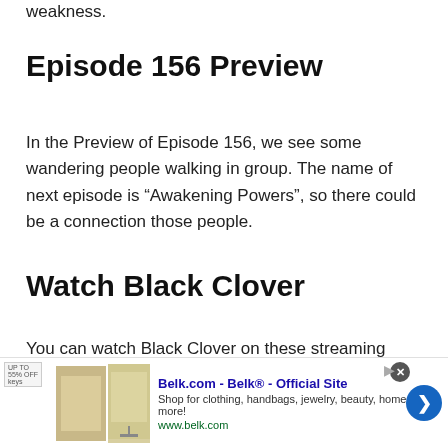weakness.
Episode 156 Preview
In the Preview of Episode 156, we see some wandering people walking in group. The name of next episode is “Awakening Powers”, so there could be a connection those people.
Watch Black Clover
You can watch Black Clover on these streaming Platforms.
[Figure (screenshot): Advertisement banner for Belk.com - Belk Official Site. Shows product images, text 'Shop for clothing, handbags, jewelry, beauty, home & more!' and URL www.belk.com with a blue arrow button and close button.]